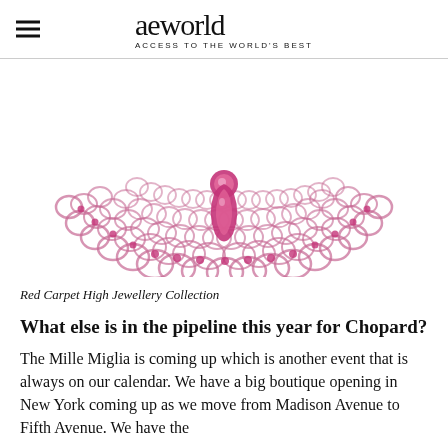aeworld ACCESS TO THE WORLD'S BEST
[Figure (photo): Close-up of a pink jeweled necklace from the Red Carpet High Jewellery Collection, showing intricate looped metalwork set with pink gemstones and a teardrop-shaped centerpiece.]
Red Carpet High Jewellery Collection
What else is in the pipeline this year for Chopard?
The Mille Miglia is coming up which is another event that is always on our calendar. We have a big boutique opening in New York coming up as we move from Madison Avenue to Fifth Avenue. We have the